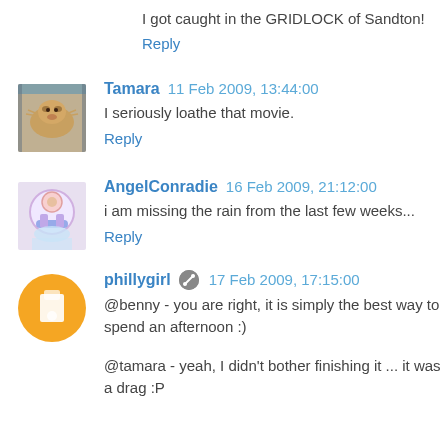I got caught in the GRIDLOCK of Sandton!
Reply
Tamara  11 Feb 2009, 13:44:00
I seriously loathe that movie.
Reply
AngelConradie  16 Feb 2009, 21:12:00
i am missing the rain from the last few weeks...
Reply
phillygirl  17 Feb 2009, 17:15:00
@benny - you are right, it is simply the best way to spend an afternoon :)
@tamara - yeah, I didn't bother finishing it ... it was a drag :P